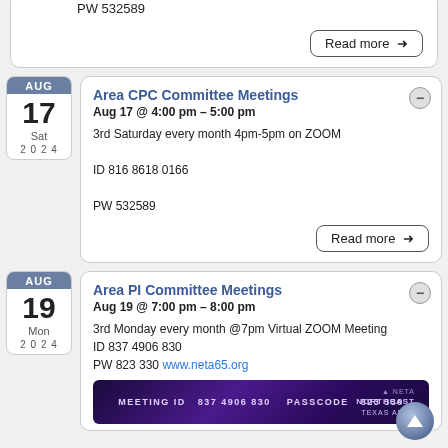PW 532589
Read more →
Area CPC Committee Meetings
Aug 17 @ 4:00 pm – 5:00 pm
3rd Saturday every month 4pm-5pm on ZOOM
ID 816 8618 0166
PW 532589
Read more →
Area PI Committee Meetings
Aug 19 @ 7:00 pm – 8:00 pm
3rd Monday every month @7pm Virtual ZOOM Meeting
ID 837 4906 830
PW 823 330 www.neta65.org
[Figure (infographic): Meeting banner with text: MEETING ID 837 4906 830, PASSCODE 823 330, Northeast Texas Area logo]